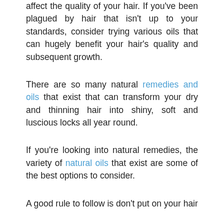affect the quality of your hair. If you've been plagued by hair that isn't up to your standards, consider trying various oils that can hugely benefit your hair's quality and subsequent growth.
There are so many natural remedies and oils that exist that can transform your dry and thinning hair into shiny, soft and luscious locks all year round.
If you're looking into natural remedies, the variety of natural oils that exist are some of the best options to consider.
A good rule to follow is don't put on your hair